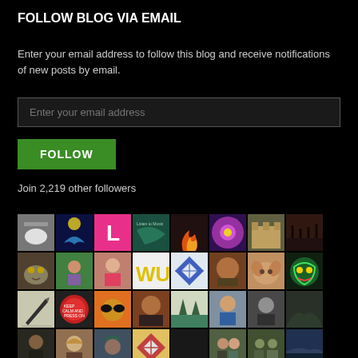FOLLOW BLOG VIA EMAIL
Enter your email address to follow this blog and receive notifications of new posts by email.
Enter your email address
FOLLOW
Join 2,219 other followers
[Figure (photo): Grid of follower avatar thumbnails in 4 rows of 8 columns, showing various profile photos, icons, and illustrations on a black background]